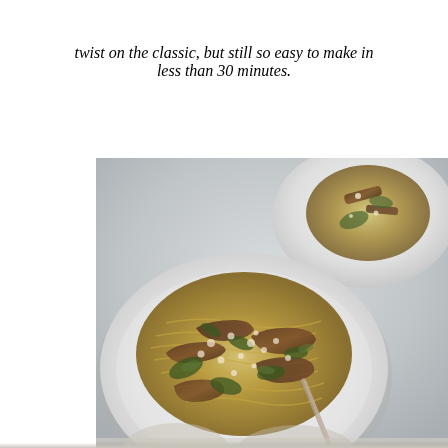twist on the classic, but still so easy to make in less than 30 minutes.
[Figure (photo): Overhead food photo showing two white bowls/plates of fettuccine pasta with sliced steak, wilted greens, and grated parmesan cheese. A fork is visible in the foreground bowl. Background is a light grey textured surface.]